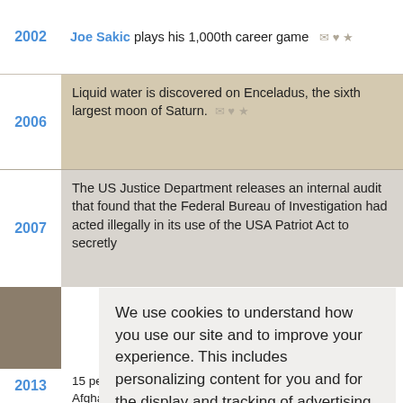2002 — Joe Sakic plays his 1,000th career game
2006 — Liquid water is discovered on Enceladus, the sixth largest moon of Saturn.
2007 — The US Justice Department releases an internal audit that found that the Federal Bureau of Investigation had acted illegally in its use of the USA Patriot Act to secretly...
2013 — 15 people are killed in two suicide bombings in Kabul, Afghanistan.
We use cookies to understand how you use our site and to improve your experience. This includes personalizing content for you and for the display and tracking of advertising. By continuing to use our site, you accept and agree to our use of cookies.  Privacy Policy
Got it!